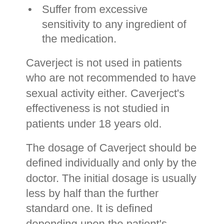Suffer from excessive sensitivity to any ingredient of the medication.
Caverject is not used in patients who are not recommended to have sexual activity either. Caverject's effectiveness is not studied in patients under 18 years old.
The dosage of Caverject should be defined individually and only by the doctor. The initial dosage is usually less by half than the further standard one. It is defined depending upon the patient's health state and the etiology of the erectile dysfunction. In case of neurogenic ED the initial dosage should not exceed 1.25 mcg of Alprostadil, in case of psychogenic, vascular and mixed ED – 2.5 mcg. After the first injection the